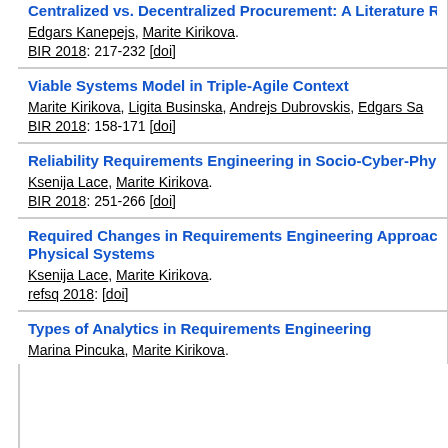Centralized vs. Decentralized Procurement: A Literature Review
Edgars Kanepejs, Marite Kirikova.
BIR 2018: 217-232 [doi]
Viable Systems Model in Triple-Agile Context
Marite Kirikova, Ligita Businska, Andrejs Dubrovskis, Edgars Sa...
BIR 2018: 158-171 [doi]
Reliability Requirements Engineering in Socio-Cyber-Physical...
Ksenija Lace, Marite Kirikova.
BIR 2018: 251-266 [doi]
Required Changes in Requirements Engineering Approaches for Cyber-Physical Systems
Ksenija Lace, Marite Kirikova.
refsq 2018: [doi]
Types of Analytics in Requirements Engineering
Marina Pincuka, Marite Kirikova.